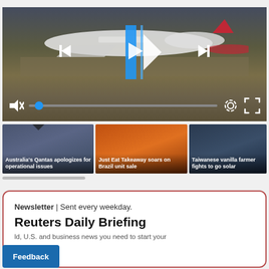[Figure (screenshot): Video player showing Qantas airplane on tarmac with playback controls: skip back, play/pause (with blue vertical bar overlay), skip forward buttons centered; mute icon, volume/progress slider with blue dot, settings gear icon, and fullscreen icon at bottom]
[Figure (screenshot): Three video thumbnails in a horizontal strip: 1) Australia's Qantas apologizes for operational issues - airport scene, 2) Just Eat Takeaway soars on Brazil unit sale - orange background, 3) Taiwanese vanilla farmer fights to go solar - dark sky scene. Active indicator triangle on first thumbnail. Horizontal scroll indicator below.]
Newsletter | Sent every weekday.
Reuters Daily Briefing
ld, U.S. and business news you need to start your